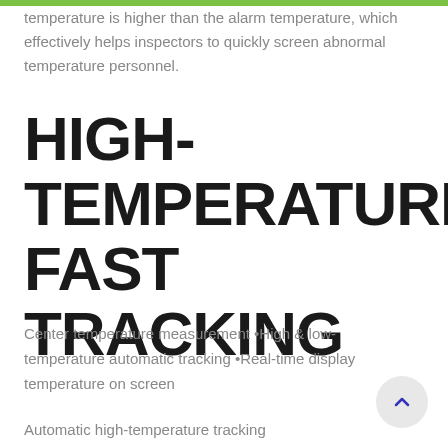temperature is higher than the alarm temperature, which effectively helps inspectors to quickly screen abnormal temperature personnel.
HIGH-TEMPERATURE FAST TRACKING
Center temperature measurement •High & low-temperature automatic tracking •Real-time display temperature on screen
Automatic high-temperature tracking